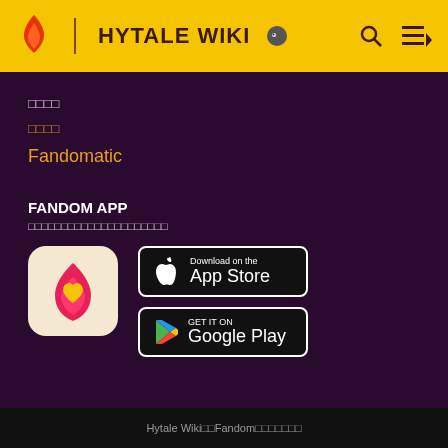HYTALE WIKI
□□□□
□□□□
Fandomatic
FANDOM APP
□□□□□□□□□□□□□□□□□□□□□
[Figure (logo): Fandom app icon with flame and heart logo on beige background]
[Figure (screenshot): Download on the App Store button]
[Figure (screenshot): GET IT ON Google Play button]
Hytale Wiki□□Fandom□□□□□□□